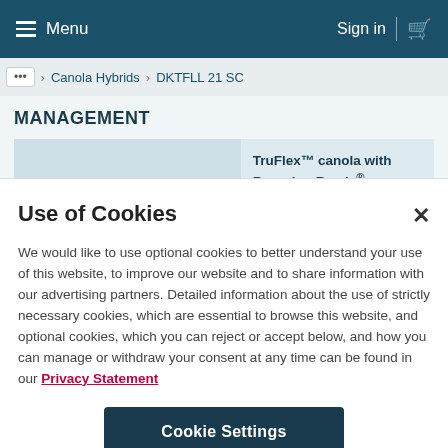Menu  Sign in
... > Canola Hybrids > DKTFLL 21 SC
MANAGEMENT
TruFlex™ canola with Roundup Ready®
Use of Cookies
We would like to use optional cookies to better understand your use of this website, to improve our website and to share information with our advertising partners. Detailed information about the use of strictly necessary cookies, which are essential to browse this website, and optional cookies, which you can reject or accept below, and how you can manage or withdraw your consent at any time can be found in our Privacy Statement
Cookie Settings